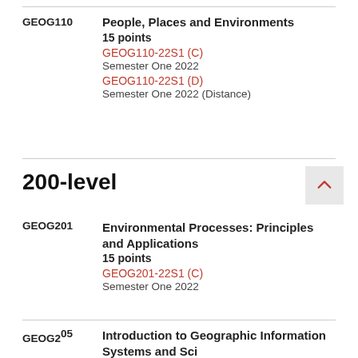GEOG110 People, Places and Environments 15 points GEOG110-22S1 (C) Semester One 2022 GEOG110-22S1 (D) Semester One 2022 (Distance)
200-level
GEOG201 Environmental Processes: Principles and Applications 15 points GEOG201-22S1 (C) Semester One 2022
GEOG205 Introduction to Geographic Information Systems and Science